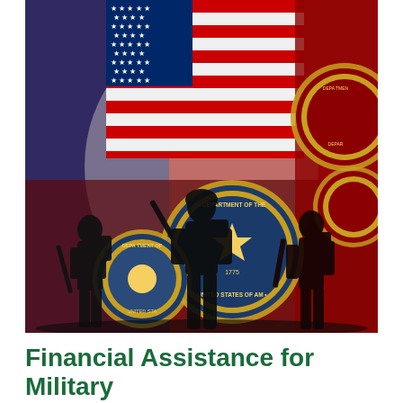[Figure (photo): Military soldiers silhouetted in front of an American flag and multiple military/government department seals including the Department of the Army and other U.S. military branch emblems on a red and blue patriotic background.]
Financial Assistance for Military Families